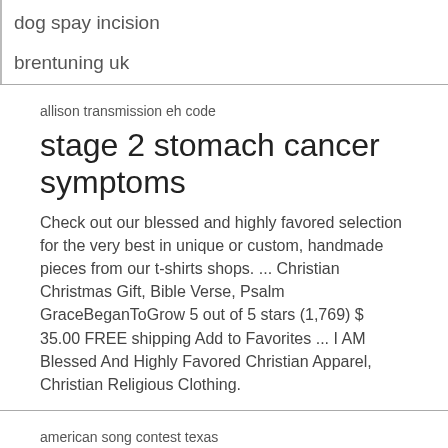dog spay incision
brentuning uk
allison transmission eh code
stage 2 stomach cancer symptoms
Check out our blessed and highly favored selection for the very best in unique or custom, handmade pieces from our t-shirts shops. ... Christian Christmas Gift, Bible Verse, Psalm GraceBeganToGrow 5 out of 5 stars (1,769) $ 35.00 FREE shipping Add to Favorites ... I AM Blessed And Highly Favored Christian Apparel, Christian Religious Clothing.
american song contest texas
i hate social work reddit
AM > Mag > 3 > Uncategorized > blessed and highly favored